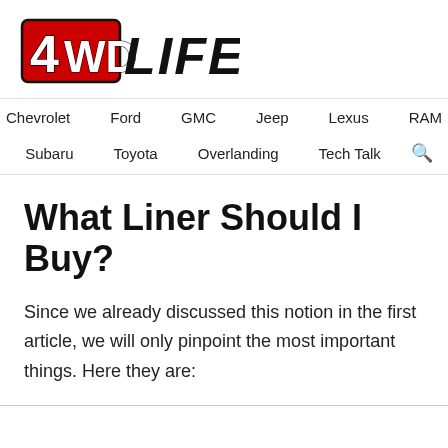[Figure (logo): 4WD LIFE logo with red '4WD' text and bold black 'LIFE' text]
Chevrolet  Ford  GMC  Jeep  Lexus  RAM  Subaru  Toyota  Overlanding  Tech Talk
What Liner Should I Buy?
Since we already discussed this notion in the first article, we will only pinpoint the most important things. Here they are: